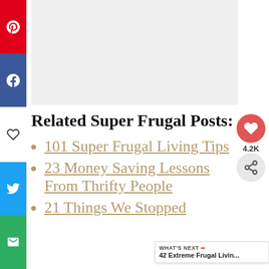Related Super Frugal Posts:
101 Super Frugal Living Tips
23 Money Saving Lessons From Thrifty People
21 Things We Stopped